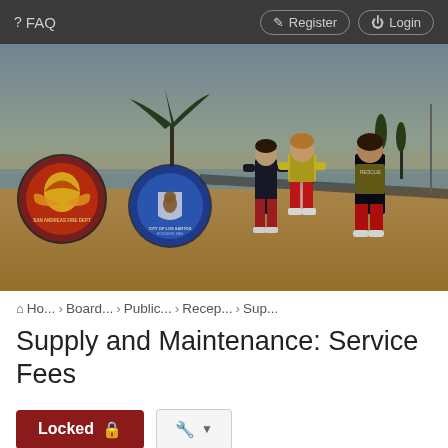FAQ   Register   Login
[Figure (screenshot): Hero image showing a beach scene from a video game (GTA V / FiveM). Three characters in lifeguard uniforms (dark tops, red shorts) standing on sandy beach. Two circular logo emblems overlaid on the left: a fire department seal and a City of Los Santos seal.]
Ho... › Board... › Public... › Recep... › Sup...
Supply and Maintenance: Service Fees
Locked 🔒
1 post • Page 1 of 1